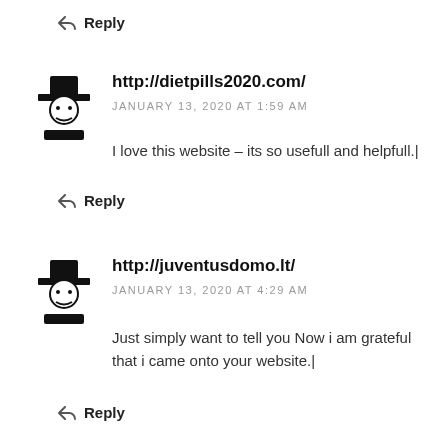↩ Reply
[Figure (illustration): Generic avatar icon: person with hat, black silhouette]
http://dietpills2020.com/
JANUARY 13, 2020 AT 1:59 AM
I love this website – its so usefull and helpfull.|
↩ Reply
[Figure (illustration): Generic avatar icon: person with hat, black silhouette]
http://juventusdomo.lt/
JANUARY 13, 2020 AT 4:29 AM
Just simply want to tell you Now i am grateful that i came onto your website.|
↩ Reply